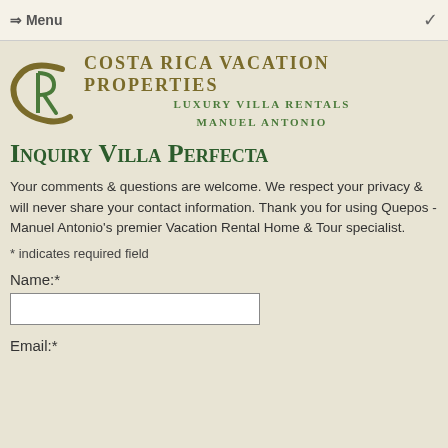⇒ Menu
[Figure (logo): Costa Rica Vacation Properties logo with stylized CR monogram in olive/gold and green, with tagline Luxury Villa Rentals Manuel Antonio]
Inquiry Villa Perfecta
Your comments & questions are welcome. We respect your privacy & will never share your contact information. Thank you for using Quepos - Manuel Antonio's premier Vacation Rental Home & Tour specialist.
* indicates required field
Name:*
Email:*